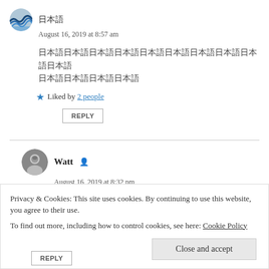[Figure (illustration): User avatar showing Hokusai wave illustration in circle]
日本語
August 16, 2019 at 8:57 am
日本語テキスト（複数行）
★ Liked by 2 people
REPLY
[Figure (photo): User avatar showing portrait photo in circle]
Watt
August 16, 2019 at 8:32 pm
Privacy & Cookies: This site uses cookies. By continuing to use this website, you agree to their use.
To find out more, including how to control cookies, see here: Cookie Policy
Close and accept
REPLY